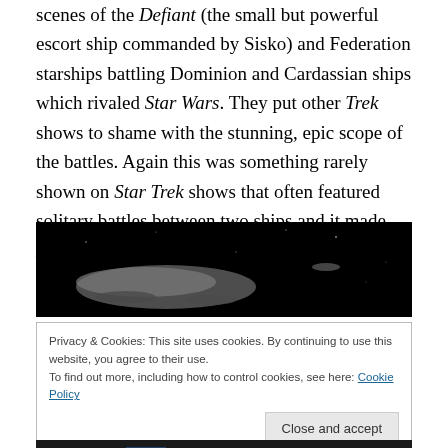scenes of the Defiant (the small but powerful escort ship commanded by Sisko) and Federation starships battling Dominion and Cardassian ships which rivaled Star Wars. They put other Trek shows to shame with the stunning, epic scope of the battles. Again this was something rarely shown on Star Trek shows that often featured solitary battles between two ships and it made DS9 that much more memorable.
[Figure (photo): Dark space scene showing a starship silhouette against a black background]
Privacy & Cookies: This site uses cookies. By continuing to use this website, you agree to their use. To find out more, including how to control cookies, see here: Cookie Policy
Close and accept
[Figure (photo): Bottom partial image with dark/colorful lighting]